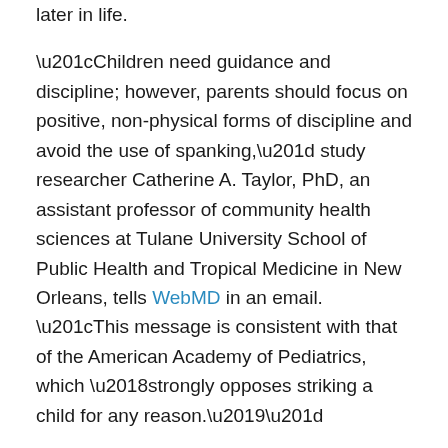later in life.
“Children need guidance and discipline; however, parents should focus on positive, non-physical forms of discipline and avoid the use of spanking,” study researcher Catherine A. Taylor, PhD, an assistant professor of community health sciences at Tulane University School of Public Health and Tropical Medicine in New Orleans, tells WebMD in an email. “This message is consistent with that of the American Academy of Pediatrics, which ‘strongly opposes striking a child for any reason.’”
Taylor and colleagues asked about 2,500 mothers how often they had spanked their 3-year-old child in the past month. Nearly half of the moms said they had not spanked their child during the previous month, 27.9% said they spanked their 3-year-old once or twice within the last